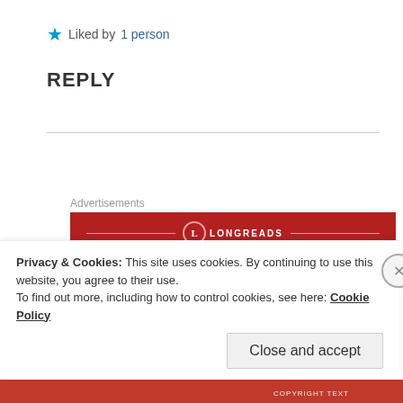★ Liked by 1 person
REPLY
Advertisements
[Figure (logo): Longreads red advertisement banner with circular logo and horizontal lines]
[Figure (photo): Circular avatar of a woman in traditional Indian bridal attire with jewelry and colorful clothing]
18 Apr 2019 at 2:36 pm
Privacy & Cookies: This site uses cookies. By continuing to use this website, you agree to their use.
To find out more, including how to control cookies, see here: Cookie Policy
Close and accept